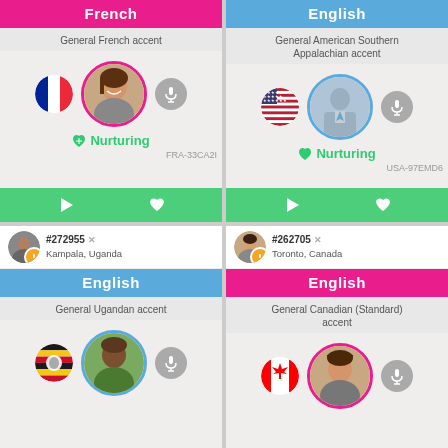[Figure (screenshot): Voice profile card for French - General French accent, Nurturing style, code FRA-33CA2I, with French flag and female photo avatar]
[Figure (screenshot): Voice profile card for English - General American Southern Appalachian accent, Nurturing style, code USA-97EMD6, with US flag and generic male avatar]
[Figure (screenshot): Voice profile card bottom-left for English - General Ugandan accent, user #272955 from Kampala, Uganda, with Ugandan flag and male photo]
[Figure (screenshot): Voice profile card bottom-right for English - General Canadian (Standard) accent, user #262705 from Toronto, Canada, with Canadian flag and female photo]